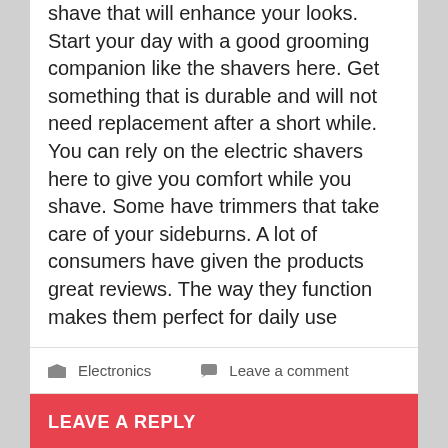shave that will enhance your looks. Start your day with a good grooming companion like the shavers here. Get something that is durable and will not need replacement after a short while. You can rely on the electric shavers here to give you comfort while you shave. Some have trimmers that take care of your sideburns. A lot of consumers have given the products great reviews. The way they function makes them perfect for daily use
Electronics   Leave a comment
LEAVE A REPLY